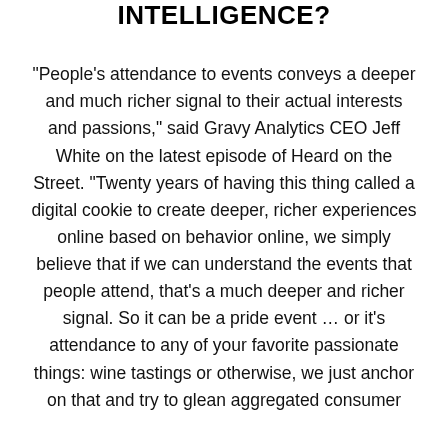INTELLIGENCE?
“People’s attendance to events conveys a deeper and much richer signal to their actual interests and passions,” said Gravy Analytics CEO Jeff White on the latest episode of Heard on the Street. “Twenty years of having this thing called a digital cookie to create deeper, richer experiences online based on behavior online, we simply believe that if we can understand the events that people attend, that’s a much deeper and richer signal. So it can be a pride event … or it’s attendance to any of your favorite passionate things: wine tastings or otherwise, we just anchor on that and try to glean aggregated consumer